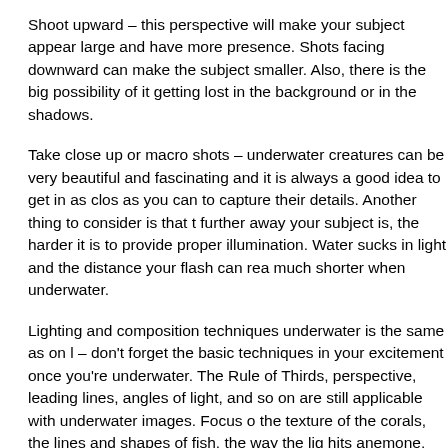Shoot upward – this perspective will make your subject appear larger and have more presence. Shots facing downward can make the subject appear smaller. Also, there is the big possibility of it getting lost in the background or in the shadows.
Take close up or macro shots – underwater creatures can be very beautiful and fascinating and it is always a good idea to get in as close as you can to capture their details. Another thing to consider is that the further away your subject is, the harder it is to provide proper illumination. Water sucks in light and the distance your flash can reach is much shorter when underwater.
Lighting and composition techniques underwater is the same as on land – don't forget the basic techniques in your excitement once you're underwater. The Rule of Thirds, perspective, leading lines, angles of light, and so on are still applicable with underwater images. Focus on the texture of the corals, the lines and shapes of fish, the way the light hits anemone. Instead of frontal flash which can make your subject appear washed out and lose detail, try sidelighting instead to bring out fine details, or backlighting to create silhouettes of the fascinating se